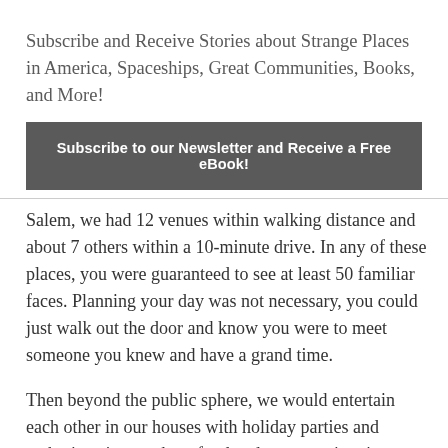×
Subscribe and Receive Stories about Strange Places in America, Spaceships, Great Communities, Books, and More!
Subscribe to our Newsletter and Receive a Free eBook!
Salem, we had 12 venues within walking distance and about 7 others within a 10-minute drive. In any of these places, you were guaranteed to see at least 50 familiar faces. Planning your day was not necessary, you could just walk out the door and know you were to meet someone you knew and have a grand time.
Then beyond the public sphere, we would entertain each other in our houses with holiday parties and gatherings just to share food and conversation, just because. Ivan would drop a side of beef in my fridge